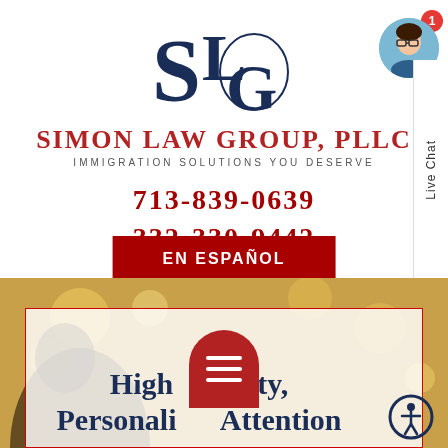[Figure (logo): Simon Law Group PLLC monogram logo with large S, L, and G letters intertwined in dark navy blue serif font]
SIMON LAW GROUP, PLLC
IMMIGRATION SOLUTIONS YOU DESERVE
713-839-0639
332-330-9442
EN ESPAÑOL
[Figure (photo): Hero background photo showing a person with bokeh golden light background]
High Quality, Personalized Attention